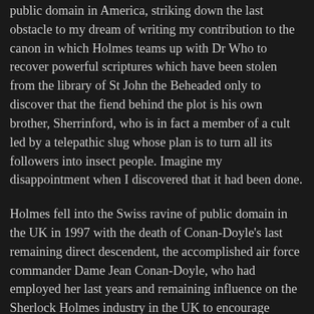public domain in America, striking down the last obstacle to my dream of writing my contribution to the canon in which Holmes teams up with Dr Who to recover powerful scriptures which have been stolen from the library of St John the Beheaded only to discover that the fiend behind the plot is his own brother, Sherrinford, who is in fact a member of a cult led by a telepathic slug whose plan is to turn all its followers into insect people. Imagine my disappointment when I discovered that it had been done.
Holmes fell into the Swiss ravine of public domain in the UK in 1997 with the death of Conan-Doyle's last remaining direct descendent, the accomplished air force commander Dame Jean Conan-Doyle, who had employed her last years and remaining influence on the Sherlock Holmes industry in the UK to encourage quality world-wide. Now U.S. District Court Judge Ruben Castillo has opened the floodgates entirely to